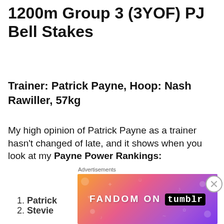1200m Group 3 (3YOF) PJ Bell Stakes
Trainer: Patrick Payne, Hoop: Nash Rawiller, 57kg
My high opinion of Patrick Payne as a trainer hasn't changed of late, and it shows when you look at my Payne Power Rankings:
1. Patrick
2. Stevie
3. Cathy
4. Michelle
5. Marise
[Figure (infographic): Fandom on Tumblr advertisement banner with colorful gradient background (orange to pink to purple) with decorative icons and text 'FANDOM ON tumblr']
Advertisements